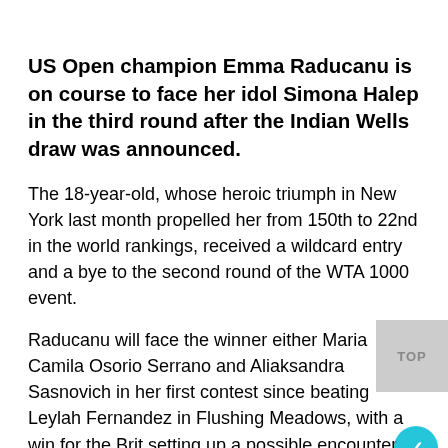US Open champion Emma Raducanu is on course to face her idol Simona Halep in the third round after the Indian Wells draw was announced.
The 18-year-old, whose heroic triumph in New York last month propelled her from 150th to 22nd in the world rankings, received a wildcard entry and a bye to the second round of the WTA 1000 event.
Raducanu will face the winner either Maria Camila Osorio Serrano and Aliaksandra Sasnovich in her first contest since beating Leylah Fernandez in Flushing Meadows, with a win for the Brit setting up a possible encounter